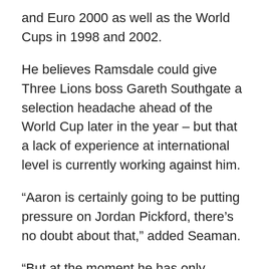and Euro 2000 as well as the World Cups in 1998 and 2002.
He believes Ramsdale could give Three Lions boss Gareth Southgate a selection headache ahead of the World Cup later in the year – but that a lack of experience at international level is currently working against him.
“Aaron is certainly going to be putting pressure on Jordan Pickford, there’s no doubt about that,” added Seaman.
“But at the moment he has only played once for England, he has got one cap against San Marino and obviously didn’t have a great deal to do.
“It is that lack of experience and the fact that Jordan has done really well when he’s played for England. You can’t take that away from him.
“A winter World Cup could benefit Aaron, there is a bit